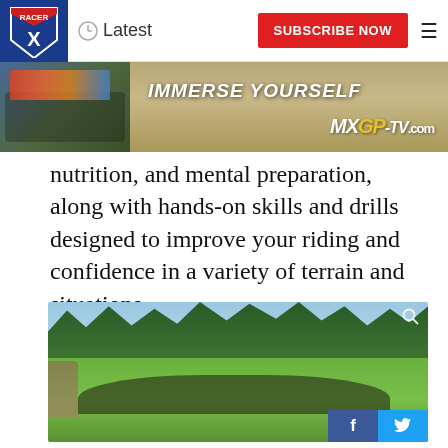Racer X | Latest | SUBSCRIBE NOW
[Figure (photo): Banner advertisement for MXGP-TV.com with tagline IMMERSE YOURSELF and motocross riders on left]
nutrition, and mental preparation, along with hands-on skills and drills designed to improve your riding and confidence in a variety of terrain and situations.
[Figure (photo): Group photo of motocross camp participants standing on a grassy hillside surrounded by forest]